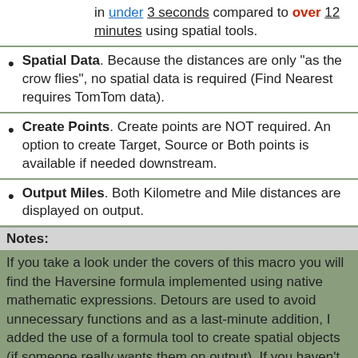in under 3 seconds compared to over 12 minutes using spatial tools.
Spatial Data. Because the distances are only "as the crow flies", no spatial data is required (Find Nearest requires TomTom data).
Create Points. Create points are NOT required. An option to create Target, Source or Both points is available if needed downstream.
Output Miles. Both Kilometre and Mile distances are displayed on output.
Notes:
If you take a look under the covers of this macro you will find the Haversine formula implemented using native mathematic expressions. Detours are used to avoid unnecessary functions and as a last-minute addition, I added the use of a formula tool to create spatial objects (if someone really wants them on output). If you haven't discovered yet, you can perform many spatial functions from within the formula tool. Please check out my YouTube video that demonstrates the raw power of this elegant beast in computing distances.